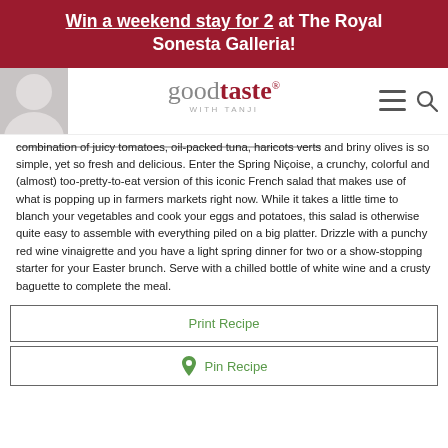Win a weekend stay for 2 at The Royal Sonesta Galleria!
[Figure (logo): Good Taste with Tanji logo with navigation icons and person photo]
combination of juicy tomatoes, oil-packed tuna, haricots verts and briny olives is so simple, yet so fresh and delicious. Enter the Spring Niçoise, a crunchy, colorful and (almost) too-pretty-to-eat version of this iconic French salad that makes use of what is popping up in farmers markets right now. While it takes a little time to blanch your vegetables and cook your eggs and potatoes, this salad is otherwise quite easy to assemble with everything piled on a big platter. Drizzle with a punchy red wine vinaigrette and you have a light spring dinner for two or a show-stopping starter for your Easter brunch. Serve with a chilled bottle of white wine and a crusty baguette to complete the meal.
Print Recipe
Pin Recipe